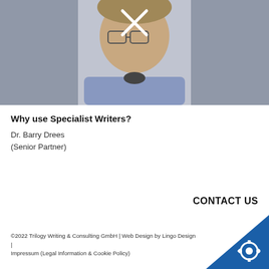[Figure (photo): Photo of Dr. Barry Drees, a middle-aged man wearing glasses and a blue shirt, with a white X overlay icon indicating a video thumbnail]
Why use Specialist Writers?
Dr. Barry Drees
(Senior Partner)
CONTACT US
©2022 Trilogy Writing & Consulting GmbH | Web Design by Lingo Design | Impressum (Legal Information & Cookie Policy)